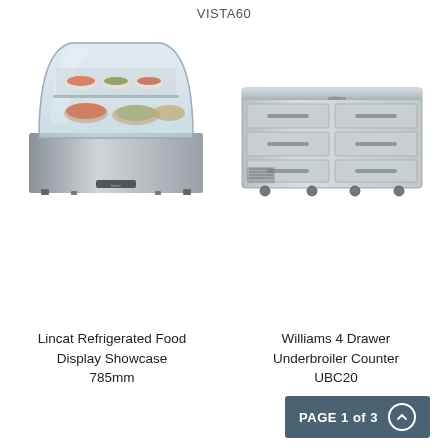VISTA60
[Figure (photo): Lincat refrigerated food display showcase with curved glass front, showing food items on two shelves]
[Figure (photo): Williams 4 Drawer Underbroiler Counter UBC20, a stainless steel refrigerated base unit with four drawers and casters]
Lincat Refrigerated Food Display Showcase 785mm
Williams 4 Drawer Underbroiler Counter UBC20
PAGE 1 of 3